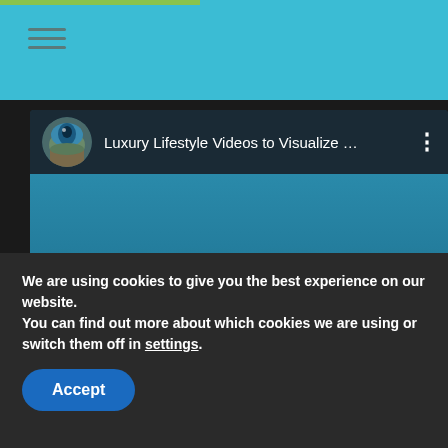[Figure (screenshot): Screenshot of a website showing a YouTube video embed of 'Luxury Lifestyle Videos to Visualize...' channel, with a teal header bar containing a hamburger menu, the channel avatar (owl/eye icon), channel name with three-dot menu, and thumbnail showing large white italic text 'LUXURY LIFEST...' on a blue-teal gradient background. A dark cookie consent banner overlays the bottom with 'Accept' button.]
We are using cookies to give you the best experience on our website.
You can find out more about which cookies we are using or switch them off in settings.
Accept